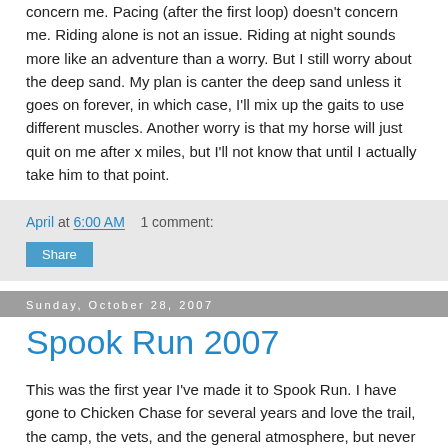concern me. Pacing (after the first loop) doesn't concern me. Riding alone is not an issue. Riding at night sounds more like an adventure than a worry. But I still worry about the deep sand. My plan is canter the deep sand unless it goes on forever, in which case, I'll mix up the gaits to use different muscles. Another worry is that my horse will just quit on me after x miles, but I'll not know that until I actually take him to that point.
April at 6:00 AM    1 comment:
Share
Sunday, October 28, 2007
Spook Run 2007
This was the first year I've made it to Spook Run. I have gone to Chicken Chase for several years and love the trail, the camp, the vets, and the general atmosphere, but never made it for the fall ride. This fall I was unable to ride as many rides as I wanted, so I was eager to get one last ride in this